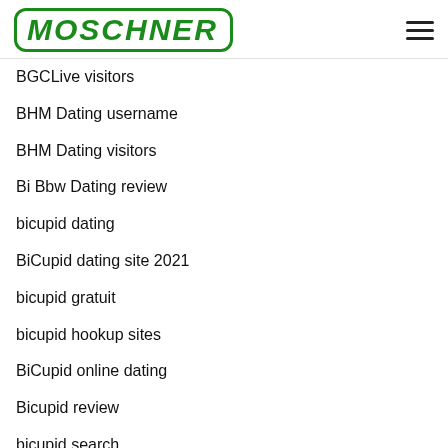MOSCHNER
BGCLive visitors
BHM Dating username
BHM Dating visitors
Bi Bbw Dating review
bicupid dating
BiCupid dating site 2021
bicupid gratuit
bicupid hookup sites
BiCupid online dating
Bicupid review
bicupid search
Big Butt Web Cam Chat Rooms